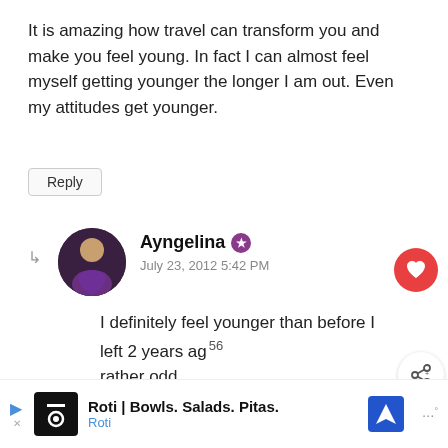It is amazing how travel can transform you and make you feel young. In fact I can almost feel myself getting younger the longer I am out. Even my attitudes get younger.
Reply
Ayngelina
July 23, 2012 5:42 PM
I definitely feel younger than before I left 2 years ago rather odd.
Reply
56
WHAT'S NEXT → 35 Things I Learned fro...
[Figure (screenshot): Advertisement banner for Roti | Bowls. Salads. Pitas. with logo, navigation arrow icon and wifi symbol]